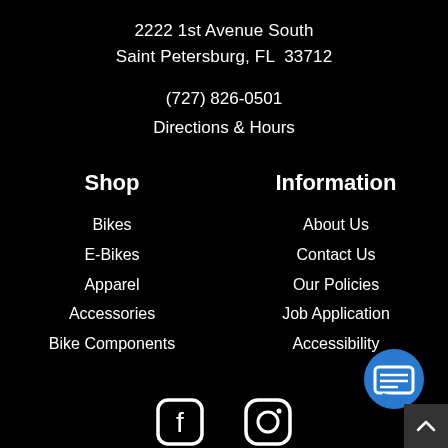2222 1st Avenue South
Saint Petersburg, FL  33712
(727) 826-0501
Directions & Hours
Shop
Bikes
E-Bikes
Apparel
Accessories
Bike Components
Information
About Us
Contact Us
Our Policies
Job Application
Accessibility
[Figure (illustration): Facebook and Instagram social media icons at the bottom of the page]
[Figure (illustration): Blue circular chat/messaging button icon in the bottom right corner]